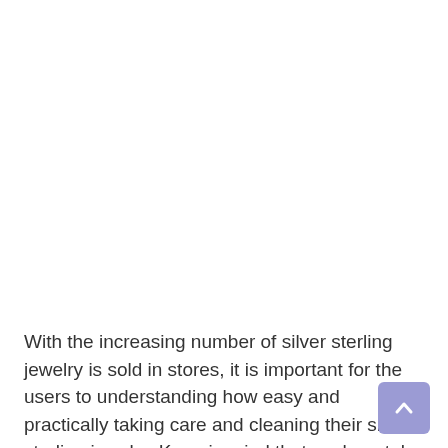With the increasing number of silver sterling jewelry is sold in stores, it is important for the users to understanding how easy and practically taking care and cleaning their silver sterling jewelry. Keep in mind that each metal has its own characteristics so it has a different response to certain chemicals. For light